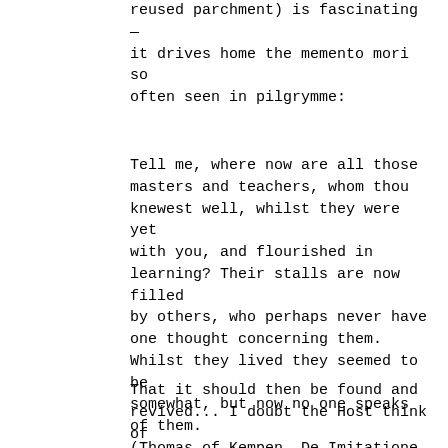reused parchment) is fascinating — it drives home the memento mori so often seen in pilgrymme:
Tell me, where now are all those masters and teachers, whom thou knewest well, whilst they were yet with you, and flourished in learning? Their stalls are now filled by others, who perhaps never have one thought concerning them. Whilst they lived they seemed to be somewhat, but now no one speaks of them.
(Thomas of Kempen, De Imitatione Christi)
That it should then be found and revived... I doubt the Host think of